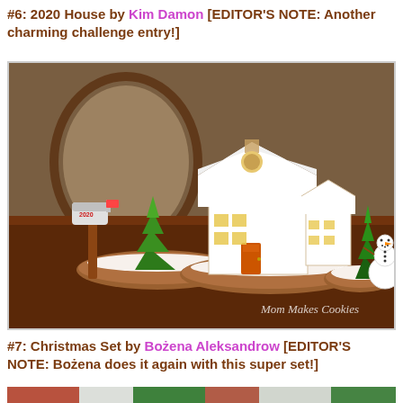#6: 2020 House by Kim Damon [EDITOR'S NOTE: Another charming challenge entry!]
[Figure (photo): Photo of decorated sugar cookies arranged as a winter scene: a gingerbread house covered in white royal icing, Christmas trees made of green icing, a snowman, and a mailbox marked '2020', all displayed on wood slices. Watermark reads 'Mom Makes Cookies'.]
#7: Christmas Set by Bożena Aleksandrow [EDITOR'S NOTE: Bożena does it again with this super set!]
[Figure (photo): Partial view of Christmas cookie set by Bożena Aleksandrow, showing red and green decorated cookies.]